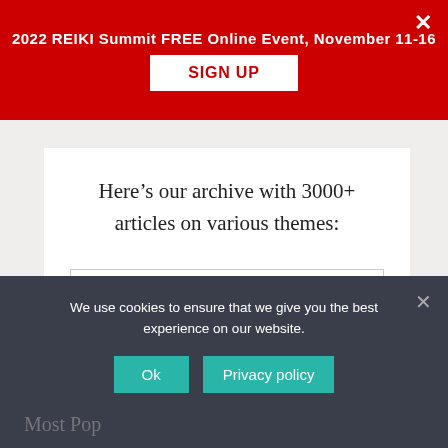2022 REIKI Summit FREE Online Event, November 11-16
SIGN UP
Here's our archive with 3000+ articles on various themes:
Select Month
We use cookies to ensure that we give you the best experience on our website.
Most Pop